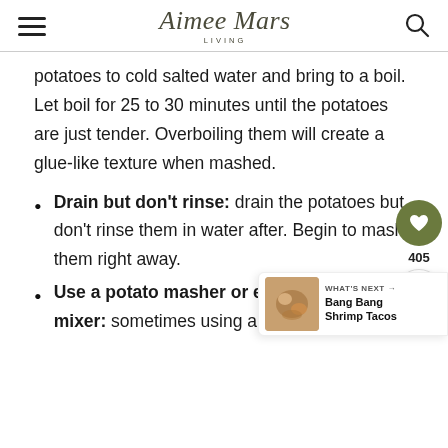Aimee Mars Living
potatoes to cold salted water and bring to a boil. Let boil for 25 to 30 minutes until the potatoes are just tender. Overboiling them will create a glue-like texture when mashed.
Drain but don't rinse: drain the potatoes but don't rinse them in water after. Begin to mash them right away.
Use a potato masher or electric mixer: sometimes using a blender or